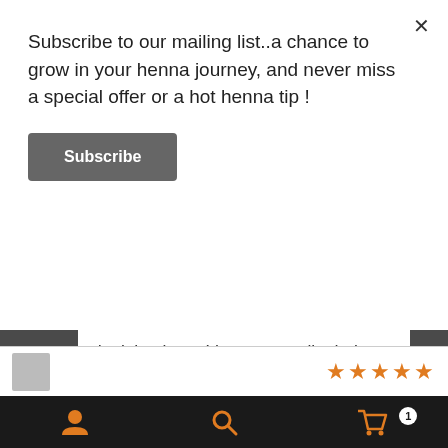Subscribe to our mailing list..a chance to grow in your henna journey, and never miss a special offer or a hot henna tip !
Subscribe
don't hesitate. I have naturally dark brown hair with a few greys. I left the henna on for two hours and then the indigo on for
twenty minutes, for a mid-brown...
ℹ 10 % off when you sign up to the Newsletter ! Enter your e mail address in the sign up link towards the bottom of this page & remember to click the opt in link in the confirmation e mail (check junk mail).
Dismiss
[Figure (screenshot): Review strip with thumbnail and orange star rating]
Navigation bar with user icon, search icon, and cart icon with badge showing 1